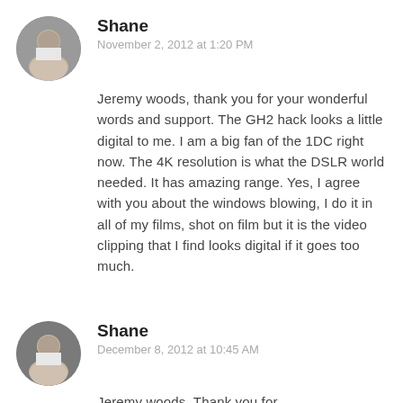[Figure (photo): Circular avatar photo of a person named Shane]
Shane
November 2, 2012 at 1:20 PM
Jeremy woods, thank you for your wonderful words and support. The GH2 hack looks a little digital to me. I am a big fan of the 1DC right now. The 4K resolution is what the DSLR world needed. It has amazing range. Yes, I agree with you about the windows blowing, I do it in all of my films, shot on film but it is the video clipping that I find looks digital if it goes too much.
[Figure (photo): Circular avatar photo of a person named Shane]
Shane
December 8, 2012 at 10:45 AM
Jeremy woods, Thank you for